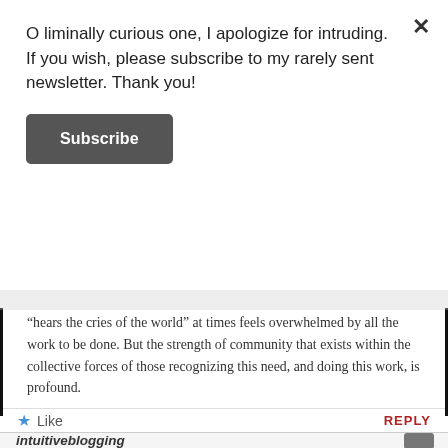O liminally curious one, I apologize for intruding. If you wish, please subscribe to my rarely sent newsletter. Thank you!
Subscribe
“hears the cries of the world” at times feels overwhelmed by all the work to be done. But the strength of community that exists within the collective forces of those recognizing this need, and doing this work, is profound.
Thanks for finding me and my blog.
Nama,
~Lindsey
Like
REPLY
intuitiveblogging